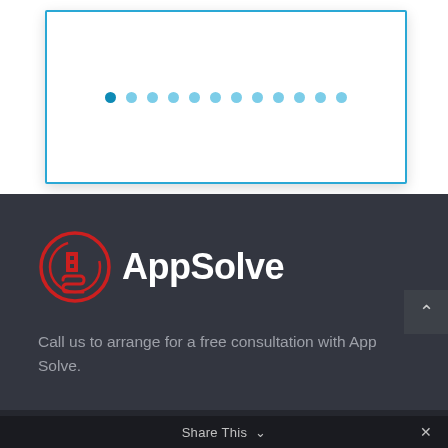[Figure (screenshot): Screenshot of a website UI showing a card with a blue border containing pagination dots (carousel indicator), followed by a dark footer with the AppSolve logo, a tagline, a phone number bar, and a Share This bar.]
[Figure (logo): AppSolve logo: red circular icon with stylized letters and white 'AppSolve' text on dark background]
Call us to arrange for a free consultation with App Solve.
1-800-539-7501
Share This